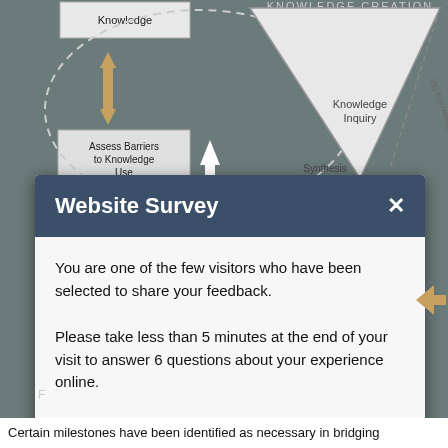[Figure (flowchart): Knowledge creation diagram showing an inverted triangle with 'Knowledge Inquiry' and 'Synthesis' labels, 'Tailoring Knowledge' text along right edge, and 'Assess Barriers to Knowledge Use' box with arrows on the left side.]
Website Survey
You are one of the few visitors who have been selected to share your feedback.
Please take less than 5 minutes at the end of your visit to answer 6 questions about your experience online.
Yes, after my visit.
No, thank you.
Certain milestones have been identified as necessary in bridging